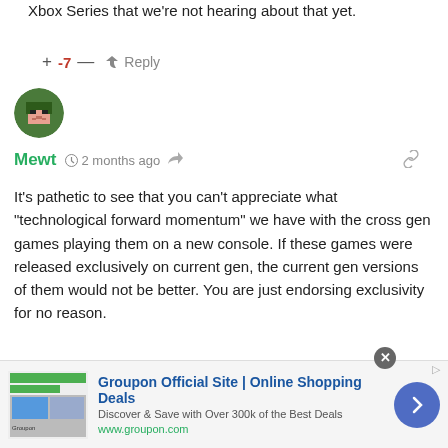Xbox Series that we're not hearing about that yet.
+ -7 — ➜ Reply
[Figure (illustration): Pixel art avatar of a character with green hat and pink face, circular crop]
Mewt  🕐 2 months ago  🔗
It's pathetic to see that you can't appreciate what "technological forward momentum" we have with the cross gen games playing them on a new console. If these games were released exclusively on current gen, the current gen versions of them would not be better. You are just endorsing exclusivity for no reason.
[Figure (screenshot): Groupon advertisement banner: Groupon Official Site | Online Shopping Deals. Discover & Save with Over 300k of the Best Deals. www.groupon.com]